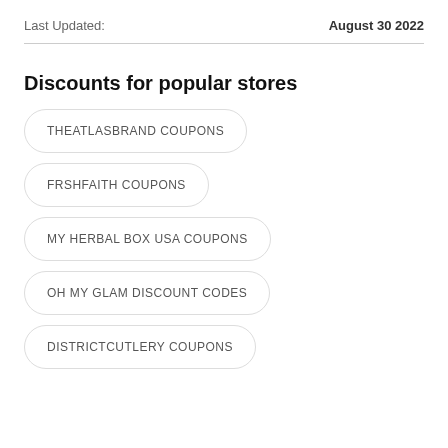Last Updated:    August 30 2022
Discounts for popular stores
THEATLASBRAND COUPONS
FRSHFAITH COUPONS
MY HERBAL BOX USA COUPONS
OH MY GLAM DISCOUNT CODES
DISTRICTCUTLERY COUPONS